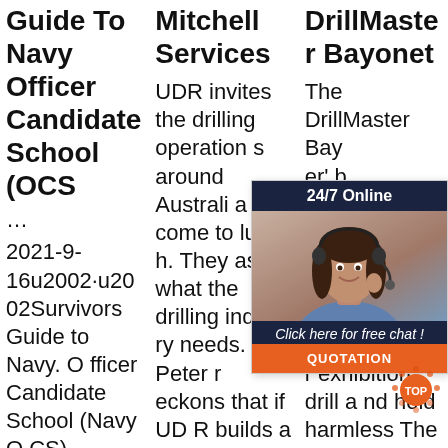Guide To Navy Officer Candidate School (OCS ...
2021-9-16u2002·u2002Survivors Guide to Navy. Officer Candidate School (Navy OCS) Introduction: Officer Candidate School can and will likely be one of the most challenging experie
Mitchell Services
UDR invites the drilling operations around Australia to come to lunch. They ask what the drilling industry needs. Peter reckons that if UDR builds a multi-purpose rig (for big holes, small holes, air drilling, water bore drilling and core drillin
DrillMaster Bayonet
The DrillMaster Bay er' b rille sinc ter b agr resp usin r exhibition drill and hold harmless The DrillMaster. That being said, bayonets were n
[Figure (infographic): Customer service chat widget overlay showing a smiling woman with headset, header '24/7 Online', text 'Click here for free chat!' and an orange 'QUOTATION' button]
[Figure (logo): Orange TOP badge/logo with dots around it]